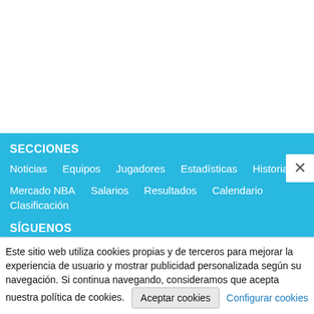SECCIONES
Noticias   Equipos   Jugadores   Estadísticas   Historia
Mercado NBA   Salarios   Resultados   Calendario   Clasificación
SÍGUENOS
Twitter   Facebook   RSS
HISPANOSNBA.COM
Contacta con nosotros   Publicidad   Aviso legal
Condiciones de Uso   Mapa del sitio
Este sitio web utiliza cookies propias y de terceros para mejorar la experiencia de usuario y mostrar publicidad personalizada según su navegación. Si continua navegando, consideramos que acepta nuestra política de cookies. Aceptar cookies  Configurar cookies